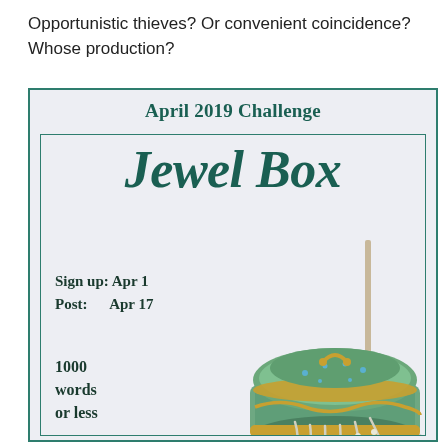Opportunistic thieves? Or convenient coincidence? Whose production?
[Figure (illustration): Promotional flyer for April 2019 Challenge titled 'Jewel Box'. Light purple/gray background with teal border. Large serif text 'Jewel Box'. Details: Sign up: Apr 1, Post: Apr 17, 1000 words or less. Photo of an ornate green and gold jewel box with pearl necklace.]